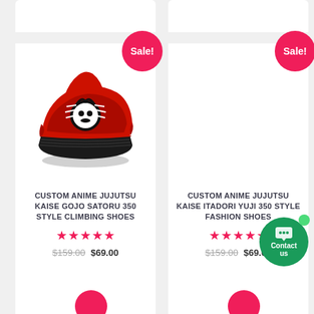[Figure (photo): Left product card showing a red/black custom anime Jujutsu Kaise Gojo Satoru 350 style climbing shoe with Sale! badge]
CUSTOM ANIME JUJUTSU KAISE GOJO SATORU 350 STYLE CLIMBING SHOES
★★★★★ $159.00 $69.00
[Figure (photo): Right product card showing a blank white area for custom anime Jujutsu Kaise Itadori Yuji 350 style fashion shoes with Sale! badge]
CUSTOM ANIME JUJUTSU KAISE ITADORI YUJI 350 STYLE FASHION SHOES
★★★★★ $159.00 $69.00